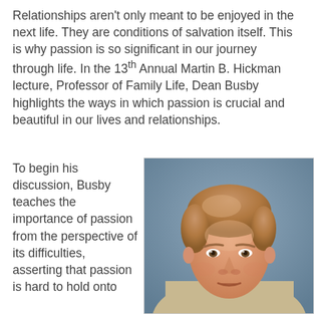Relationships aren't only meant to be enjoyed in the next life. They are conditions of salvation itself. This is why passion is so significant in our journey through life. In the 13th Annual Martin B. Hickman lecture, Professor of Family Life, Dean Busby highlights the ways in which passion is crucial and beautiful in our lives and relationships.
To begin his discussion, Busby teaches the importance of passion from the perspective of its difficulties, asserting that passion is hard to hold onto
[Figure (photo): Headshot photo of Dean Busby, a middle-aged man with light brown/auburn hair, wearing a light-colored shirt, set against a blue-gray studio background.]